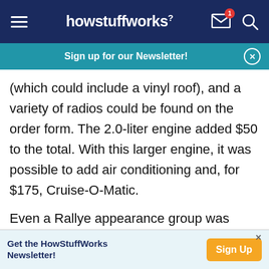howstuffworks
Sign up for our Newsletter!
(which could include a vinyl roof), and a variety of radios could be found on the order form. The 2.0-liter engine added $50 to the total. With this larger engine, it was possible to add air conditioning and, for $175, Cruise-O-Matic.

Even a Rallye appearance group was marketed, featuring most of the decor-package items plus blacked-out hood, taillamp bezels, and grille; Boss Mustang-style fender stripes; Rallye badges; front
Get the HowStuffWorks Newsletter!